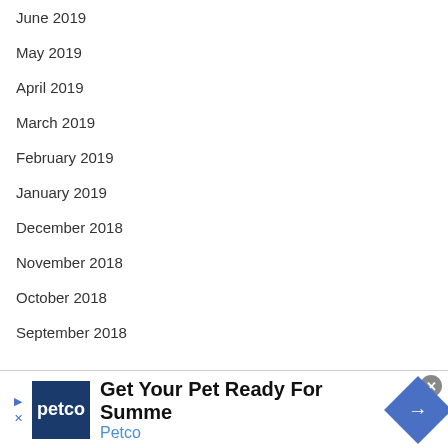June 2019
May 2019
April 2019
March 2019
February 2019
January 2019
December 2018
November 2018
October 2018
September 2018
[Figure (other): Petco advertisement banner: Get Your Pet Ready For Summer - Petco, with Petco logo and navigation arrow]